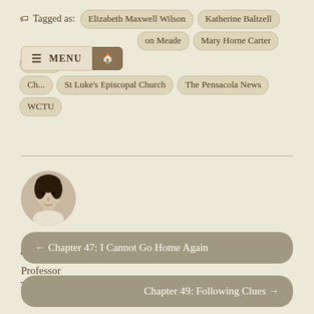Tagged as: Elizabeth Maxwell Wilson  Katherine Baltzell  [P...] on Meade  Mary Horne Carter  Paul H. [C...]  [St. Luke's] Episcopal Church  The Pensacola News  WCTU
[Figure (photo): Circular avatar photo of a young person in black and white, wearing a light-colored shirt.]
jsmith532
Professor
The University of Maryland Global Campus
← Chapter 47: I Cannot Go Home Again
Chapter 49: Following Clues →